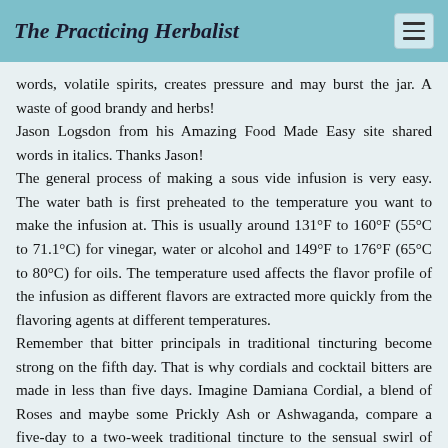The Practicing Herbalist
words, volatile spirits, creates pressure and may burst the jar. A waste of good brandy and herbs!
Jason Logsdon from his Amazing Food Made Easy site shared words in italics. Thanks Jason!
The general process of making a sous vide infusion is very easy. The water bath is first preheated to the temperature you want to make the infusion at. This is usually around 131°F to 160°F (55°C to 71.1°C) for vinegar, water or alcohol and 149°F to 176°F (65°C to 80°C) for oils. The temperature used affects the flavor profile of the infusion as different flavors are extracted more quickly from the flavoring agents at different temperatures.
Remember that bitter principals in traditional tincturing become strong on the fifth day. That is why cordials and cocktail bitters are made in less than five days. Imagine Damiana Cordial, a blend of Roses and maybe some Prickly Ash or Ashwaganda, compare a five-day to a two-week traditional tincture to the sensual swirl of the four hours in a Sous Vide, Oolala.